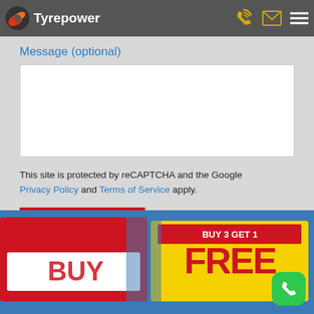Tyrepower
Postcode
Message (optional)
This site is protected by reCAPTCHA and the Google Privacy Policy and Terms of Service apply.
Request Quote
[Figure (photo): Promotional banner with text including 'FREE' in large yellow and red letters on a blue background.]